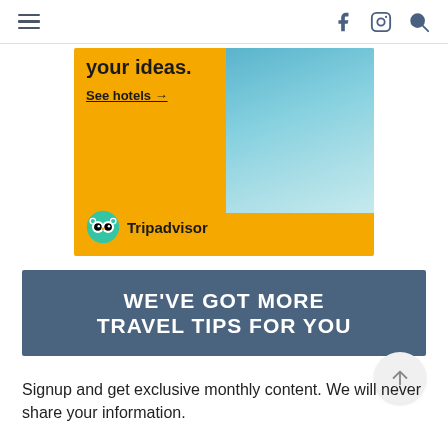Navigation bar with hamburger menu, Facebook icon, Instagram icon, and search icon
[Figure (other): Tripadvisor advertisement banner with yellow background, 'your ideas.' headline text, 'See hotels →' call-to-action link, hotel pool/resort photo on the right, and Tripadvisor logo at the bottom left]
WE'VE GOT MORE TRAVEL TIPS FOR YOU
Signup and get exclusive monthly content. We will never share your information.